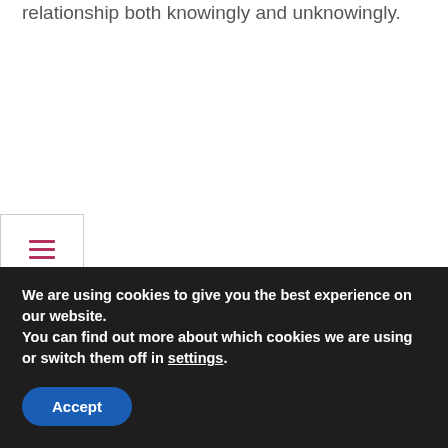relationship both knowingly and unknowingly.
You could be in a toxic relationship and not even know most especially the romantic ones where you have no choice but to end them as quickly as possible. You need to understand that people don't usually change especially character wise and however good you are as a person, that's just you.
You need to understand that you have the power to control how you
We are using cookies to give you the best experience on our website.
You can find out more about which cookies we are using or switch them off in settings.
Accept